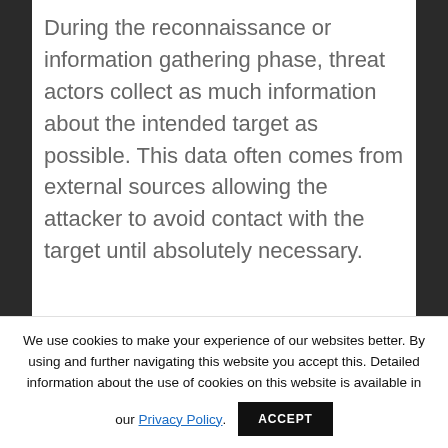During the reconnaissance or information gathering phase, threat actors collect as much information about the intended target as possible. This data often comes from external sources allowing the attacker to avoid contact with the target until absolutely necessary.
A motivated attacker will leave no stone unturned when searching for information about a target.
We use cookies to make your experience of our websites better. By using and further navigating this website you accept this. Detailed information about the use of cookies on this website is available in our Privacy Policy.